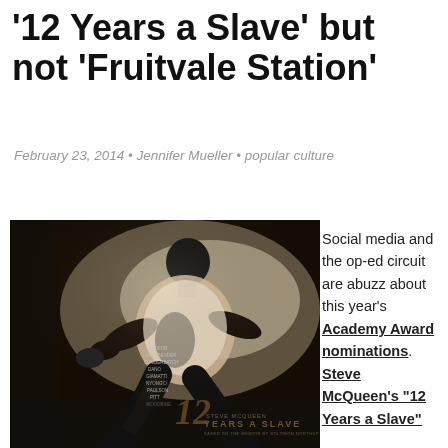‘12 Years a Slave’ but not ‘Fruitvale Station’
February 23, 2014 • Jennifer Mueller • popular culture
[Figure (photo): Movie poster / promotional image for '12 Years a Slave' showing a man in a white shirt running, in dark silhouette against a bright background]
Social media and the op-ed circuit are abuzz about this year’s Academy Award nominations. Steve McQueen’s “12 Years a Slave”